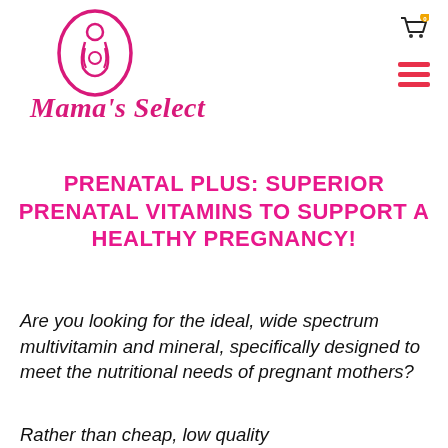[Figure (logo): Mama's Select logo: pink oval outline with mother and baby silhouette inside, and italic bold cursive brand name 'Mama's Select' in pink below]
PRENATAL PLUS: SUPERIOR PRENATAL VITAMINS TO SUPPORT A HEALTHY PREGNANCY!
Are you looking for the ideal, wide spectrum multivitamin and mineral, specifically designed to meet the nutritional needs of pregnant mothers?
Rather than cheap, low quality